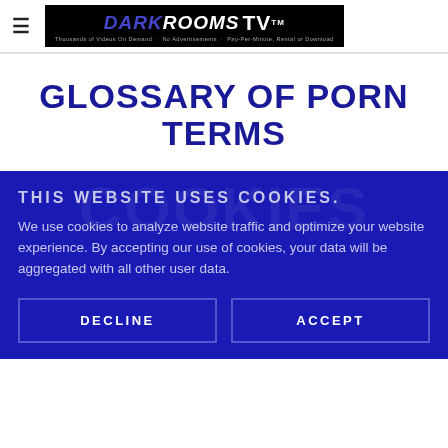≡ DARKROOMS TV
GLOSSARY OF PORN TERMS
THIS WEBSITE USES COOKIES.
We use cookies to analyze website traffic and optimize your website experience. By accepting our use of cookies, your data will be aggregated with all other user data.
DECLINE
ACCEPT